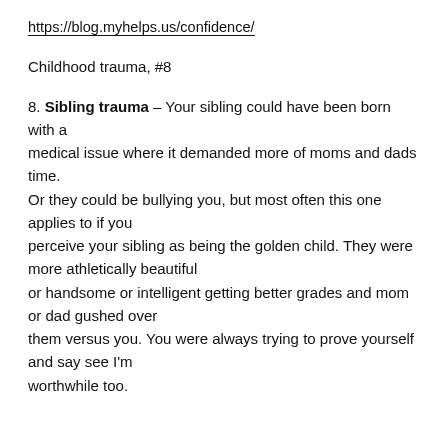https://blog.myhelps.us/confidence/
Childhood trauma, #8
8. Sibling trauma – Your sibling could have been born with a medical issue where it demanded more of moms and dads time. Or they could be bullying you, but most often this one applies to if you perceive your sibling as being the golden child. They were more athletically beautiful or handsome or intelligent getting better grades and mom or dad gushed over them versus you. You were always trying to prove yourself and say see I'm worthwhile too.